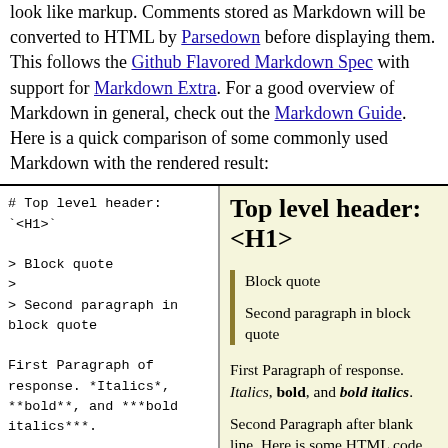look like markup. Comments stored as Markdown will be converted to HTML by Parsedown before displaying them. This follows the Github Flavored Markdown Spec with support for Markdown Extra. For a good overview of Markdown in general, check out the Markdown Guide. Here is a quick comparison of some commonly used Markdown with the rendered result:
| Markdown source | Rendered result |
| --- | --- |
| # Top level header: `<H1>`

> Block quote
>
> Second paragraph in block quote

First Paragraph of response. *Italics*, **bold**, and ***bold italics***.

Second Paragraph after blank line. Here is some <U>HTML code</U> mixed in with the Markdown, and here is the same `<U>HTML code</U>` enclosed by backticks. | Top level header: <H1>

Block quote
Second paragraph in block quote

First Paragraph of response. Italics, bold, and bold italics.

Second Paragraph after blank line. Here is some HTML code mixed in with the Markdown, and |